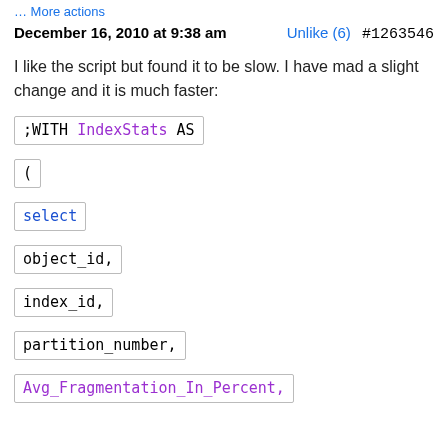… More actions
December 16, 2010 at 9:38 am    Unlike (6)    #1263546
I like the script but found it to be slow. I have mad a slight change and it is much faster: